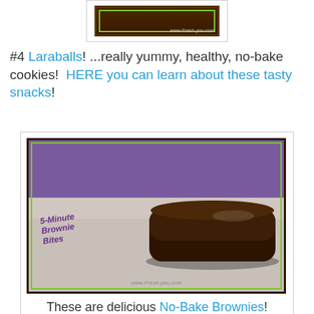[Figure (photo): Top partial image of a Fresh-you.com product with dark background and green border, showing www.Fresh-you.com URL]
#4 Laraballs! ...really yummy, healthy, no-bake cookies! HERE you can learn about these tasty snacks!
[Figure (photo): Photo of a chocolate brownie bite on a white plate with purple fabric in background, labeled '5-Minute Brownie Bites' and 'www.Fresh-you.com', green and dark border frame]
These are delicious No-Bake Brownies!